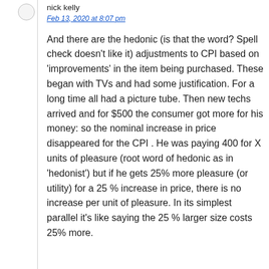nick kelly
Feb 13, 2020 at 8:07 pm
And there are the hedonic (is that the word? Spell check doesn’t like it) adjustments to CPI based on ‘improvements’ in the item being purchased. These began with TVs and had some justification. For a long time all had a picture tube. Then new techs arrived and for $500 the consumer got more for his money: so the nominal increase in price disappeared for the CPI . He was paying 400 for X units of pleasure (root word of hedonic as in ‘hedonist’) but if he gets 25% more pleasure (or utility) for a 25 % increase in price, there is no increase per unit of pleasure. In its simplest parallel it’s like saying the 25 % larger size costs 25% more.